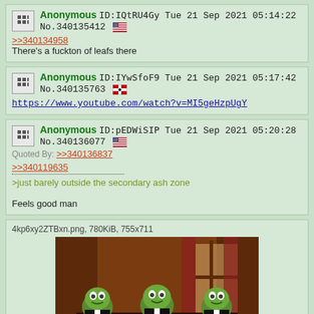Anonymous ID:IQtRU4Gy Tue 21 Sep 2021 05:14:22 No.340135412 >>340134958 There's a fuckton of leafs there
Anonymous ID:IYwSfoF9 Tue 21 Sep 2021 05:17:42 No.340135763 https://www.youtube.com/watch?v=MI5geHzpUgY
Anonymous ID:pEDWiSIP Tue 21 Sep 2021 05:20:28 No.340136077 Quoted By: >>340136837 >>340119635 >just barely outside the secondary ash zone Feels good man
4kp6xy2ZTBxn.png, 780KiB, 755x711
[Figure (photo): Image of Pepe the Frog characters in formal wear in an ornate room]